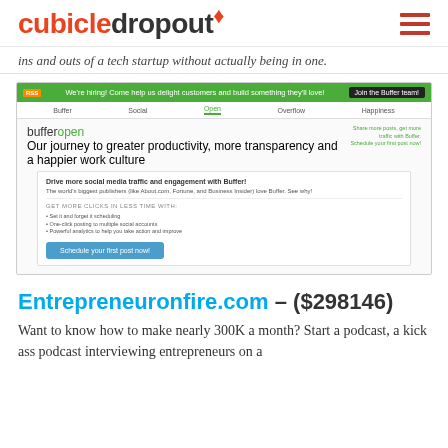cubicledropout
ins and outs of a tech startup without actually being in one.
[Figure (screenshot): Screenshot of Buffer Open website page showing a green top bar with hiring message, navigation menu with Buffer, Social, Open, Overflow, Happiness tabs, the bufferopen logo, and a promotional card saying Drive more social media traffic and engagement with Buffer! with a Schedule your first post now! CTA button.]
Entrepreneuronfire.com – ($298146)
Want to know how to make nearly 300K a month? Start a podcast, a kick ass podcast interviewing entrepreneurs on a